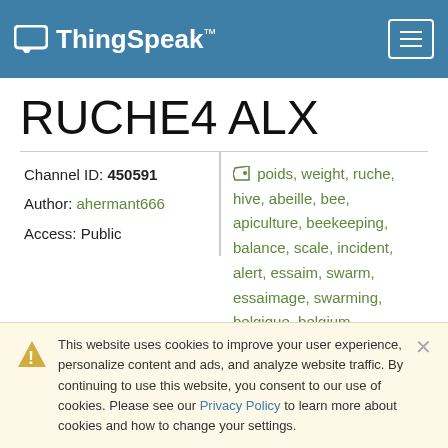ThingSpeak™
RUCHE4 ALX
Channel ID: 450591
Author: ahermant666
Access: Public
poids, weight, ruche, hive, abeille, bee, apiculture, beekeeping, balance, scale, incident, alert, essaim, swarm, essaimage, swarming, belgique, belgium, wallonie, wallonia
This website uses cookies to improve your user experience, personalize content and ads, and analyze website traffic. By continuing to use this website, you consent to our use of cookies. Please see our Privacy Policy to learn more about cookies and how to change your settings.